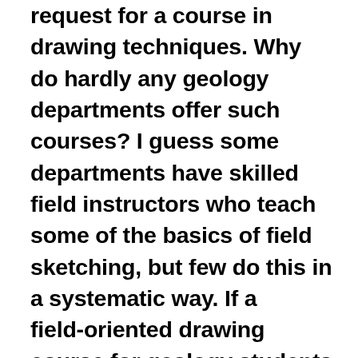request for a course in drawing techniques. Why do hardly any geology departments offer such courses? I guess some departments have skilled field instructors who teach some of the basics of field sketching, but few do this in a systematic way. If a field-oriented drawing course for geology students exists, then I would really like to know more about it. Interestingly enough, a student recently asked me if I would be kind enough to run a little workshop on field sketching, and lacking any good alternative teacher for such a class in our department, I reluctantly agreed. Well, the student posted it on Facebook, and after a day or two more than 100 students had signed up for it! It is happening this week, and students voluntarily come in to the U at